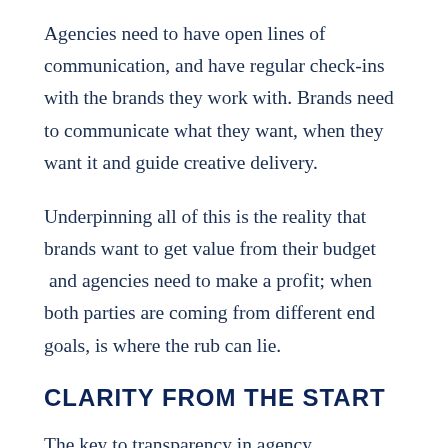Agencies need to have open lines of communication, and have regular check-ins with the brands they work with. Brands need to communicate what they want, when they want it and guide creative delivery.
Underpinning all of this is the reality that brands want to get value from their budget  and agencies need to make a profit; when both parties are coming from different end goals, is where the rub can lie.
CLARITY FROM THE START
The key to transparency in agency relationships is to define your objectives from the very beginning.